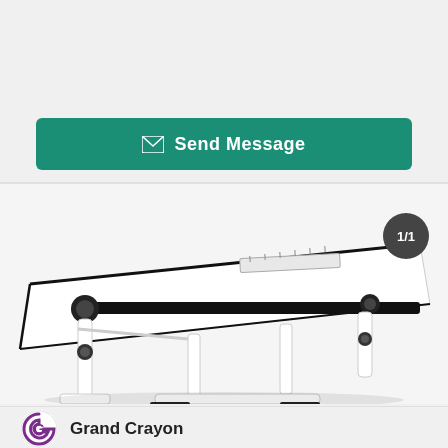[Figure (other): Send Message button with teal/green background and white envelope icon and text]
[Figure (photo): Product photo of a white drafting table/desk with adjustable tilting surface, black metal frame supports and adjustment knobs, white tabletop with ruler, image counter badge showing 1/1]
Grand Crayon